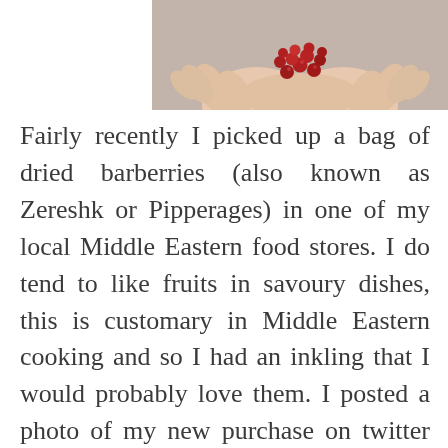[Figure (photo): Hands cupped together holding bright red dried barberries, photographed from above against a grey/beige background]
Fairly recently I picked up a bag of dried barberries (also known as Zereshk or Pipperages) in one of my local Middle Eastern food stores. I do tend to like fruits in savoury dishes, this is customary in Middle Eastern cooking and so I had an inkling that I would probably love them. I posted a photo of my new purchase on twitter and one of my followers,  Sophia – who writes the blog 'Real Simple Food' – sweetly tweeted back saying